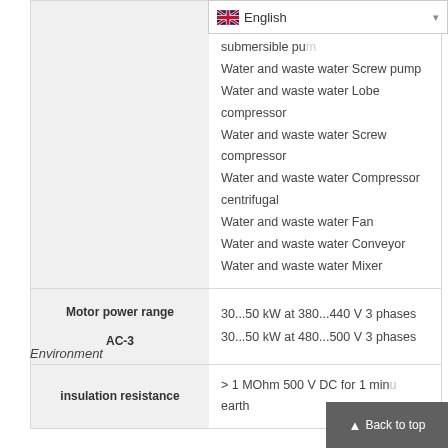[Figure (screenshot): Language selector dropdown showing English with UK flag]
|  |  |
| --- | --- |
|  | submersible pump
Water and waste water Screw pump
Water and waste water Lobe compressor
Water and waste water Screw compressor
Water and waste water Compressor centrifugal
Water and waste water Fan
Water and waste water Conveyor
Water and waste water Mixer |
| Motor power range AC-3 | 30...50 kW at 380...440 V 3 phases
30...50 kW at 480...500 V 3 phases |
| mounting mode | Wall mount |
Environment
|  |  |
| --- | --- |
| insulation resistance | > 1 MOhm 500 V DC for 1 min between phases and earth |